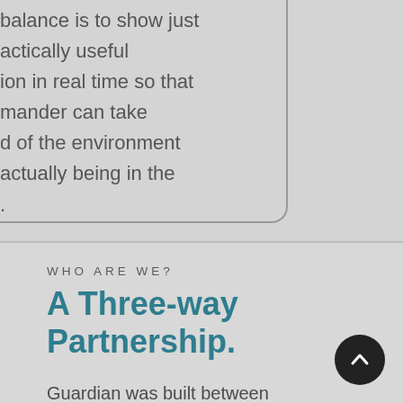balance is to show just
actically useful
ion in real time so that
mander can take
d of the environment
actually being in the
.
WHO ARE WE?
A Three-way Partnership.
Guardian was built between International engineering,